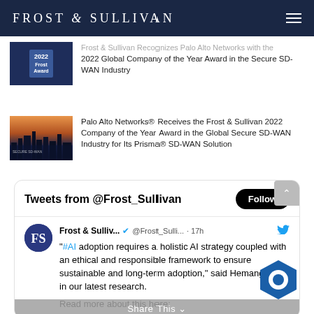FROST & SULLIVAN
Frost & Sullivan Recognizes Palo Alto Networks with the 2022 Global Company of the Year Award in the Secure SD-WAN Industry
Palo Alto Networks® Receives the Frost & Sullivan 2022 Company of the Year Award in the Global Secure SD-WAN Industry for Its Prisma® SD-WAN Solution
Tweets from @Frost_Sullivan
Frost & Sulliv... @Frost_Sulli... · 17h
"#AI adoption requires a holistic AI strategy coupled with an ethical and responsible framework to ensure sustainable and long-term adoption," said Hemangi Patel in our latest research.
Read more about this here:
bit.ly/3plINTJ